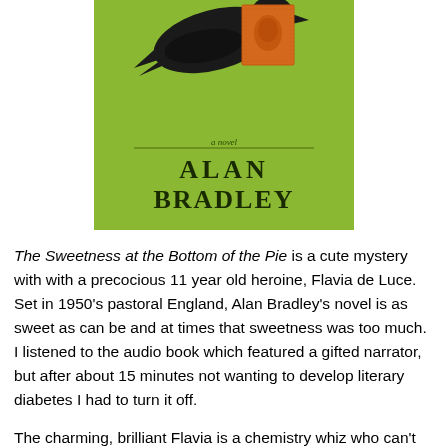[Figure (illustration): Book cover of 'The Sweetness at the Bottom of the Pie' by Alan Bradley. Green background with a black silhouette of a bird (crow/rook) holding an orange vintage postage stamp. The author name ALAN BRADLEY is displayed in large serif text, with 'a novel' inscribed in smaller script above.]
The Sweetness at the Bottom of the Pie is a cute mystery with with a precocious 11 year old heroine, Flavia de Luce. Set in 1950's pastoral England, Alan Bradley's novel is as sweet as can be and at times that sweetness was too much. I listened to the audio book which featured a gifted narrator, but after about 15 minutes not wanting to develop literary diabetes I had to turn it off.
The charming, brilliant Flavia is a chemistry whiz who can't